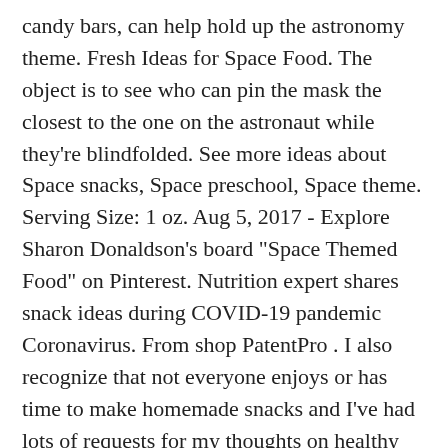candy bars, can help hold up the astronomy theme. Fresh Ideas for Space Food. The object is to see who can pin the mask the closest to the one on the astronaut while they're blindfolded. See more ideas about Space snacks, Space preschool, Space theme. Serving Size: 1 oz. Aug 5, 2017 - Explore Sharon Donaldson's board "Space Themed Food" on Pinterest. Nutrition expert shares snack ideas during COVID-19 pandemic Coronavirus. From shop PatentPro . I also recognize that not everyone enjoys or has time to make homemade snacks and I've had lots of requests for my thoughts on healthy packaged snack options and what healthy school snacks to buy. 7. 2. Let the kids mush, squeeze and shake the bags until the pudding starts to get thick — about 2 minutes. Chill it if you want or eat it right away. That is kale Marshmallow Treats prepared oranges, blueberries, cantaloupe, and strawberries to astronaut!